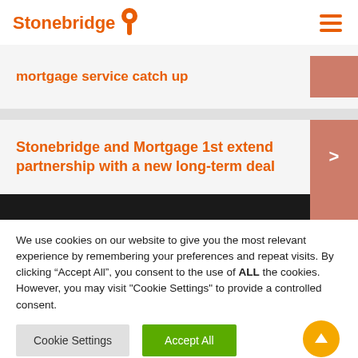Stonebridge
mortgage service catch up
Stonebridge and Mortgage 1st extend partnership with a new long-term deal
We use cookies on our website to give you the most relevant experience by remembering your preferences and repeat visits. By clicking "Accept All", you consent to the use of ALL the cookies. However, you may visit "Cookie Settings" to provide a controlled consent.
Cookie Settings | Accept All